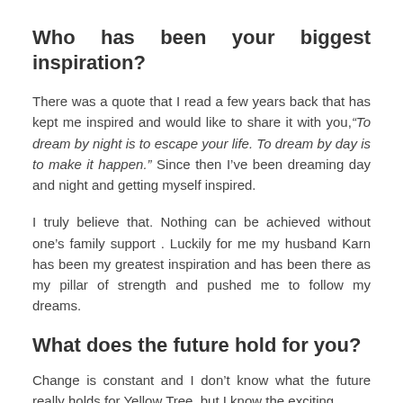Who has been your biggest inspiration?
There was a quote that I read a few years back that has kept me inspired and would like to share it with you,“To dream by night is to escape your life. To dream by day is to make it happen.” Since then I’ve been dreaming day and night and getting myself inspired.
I truly believe that. Nothing can be achieved without one’s family support . Luckily for me my husband Karn has been my greatest inspiration and has been there as my pillar of strength and pushed me to follow my dreams.
What does the future hold for you?
Change is constant and I don’t know what the future really holds for Yellow Tree, but I know the exciting